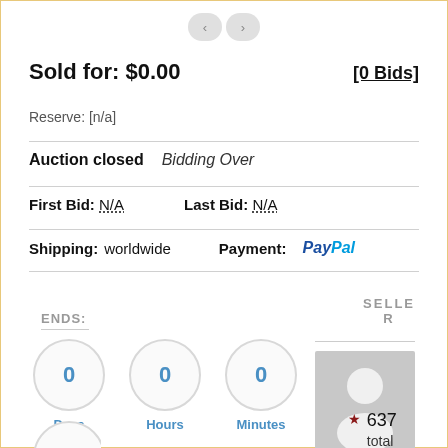[Figure (other): Navigation arrows (back/forward) at top center]
Sold for: $0.00
[0 Bids]
Reserve: [n/a]
Auction closed   Bidding Over
First Bid: N/A   Last Bid: N/A
Shipping: worldwide   Payment: PayPal
ENDS:
0 Days   0 Hours   0 Minutes
0
SELLER
[Figure (photo): Seller avatar placeholder - grey square with person silhouette]
★ 637 total auctions